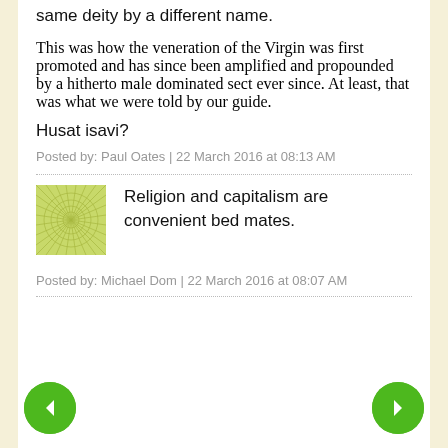same deity by a different name.
This was how the veneration of the Virgin was first promoted and has since been amplified and propounded by a hitherto male dominated sect ever since. At least, that was what we were told by our guide.
Husat isavi?
Posted by: Paul Oates | 22 March 2016 at 08:13 AM
Religion and capitalism are convenient bed mates.
Posted by: Michael Dom | 22 March 2016 at 08:07 AM